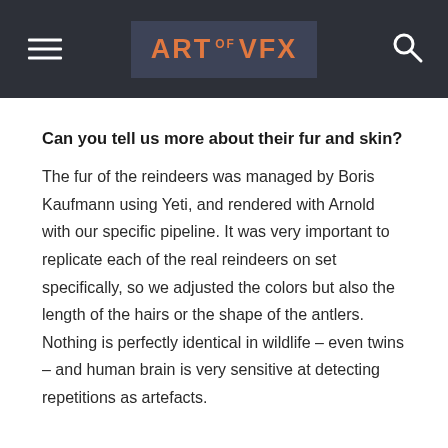ART of VFX
Can you tell us more about their fur and skin?
The fur of the reindeers was managed by Boris Kaufmann using Yeti, and rendered with Arnold with our specific pipeline. It was very important to replicate each of the real reindeers on set specifically, so we adjusted the colors but also the length of the hairs or the shape of the antlers. Nothing is perfectly identical in wildlife – even twins – and human brain is very sensitive at detecting repetitions as artefacts.